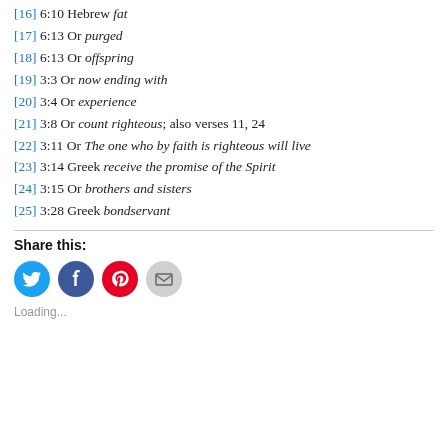[16] 6:10 Hebrew fat
[17] 6:13 Or purged
[18] 6:13 Or offspring
[19] 3:3 Or now ending with
[20] 3:4 Or experience
[21] 3:8 Or count righteous; also verses 11, 24
[22] 3:11 Or The one who by faith is righteous will live
[23] 3:14 Greek receive the promise of the Spirit
[24] 3:15 Or brothers and sisters
[25] 3:28 Greek bondservant
Share this:
[Figure (infographic): Social sharing buttons: Twitter (blue circle), Facebook (blue circle), Pinterest (red circle), Email (gray circle)]
Loading...